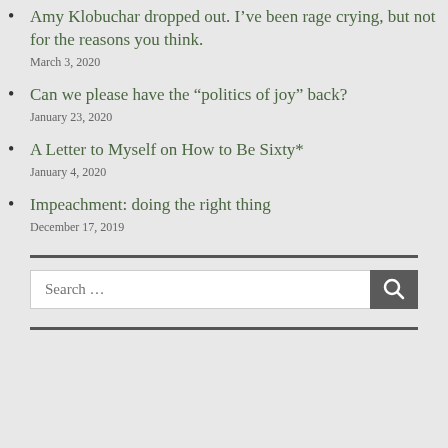Amy Klobuchar dropped out. I’ve been rage crying, but not for the reasons you think.
March 3, 2020
Can we please have the “politics of joy” back?
January 23, 2020
A Letter to Myself on How to Be Sixty*
January 4, 2020
Impeachment: doing the right thing
December 17, 2019
[Figure (other): Horizontal dark divider line]
Search ...
[Figure (other): Horizontal dark divider line at bottom]